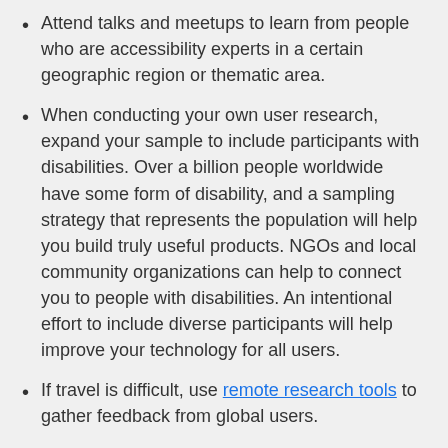Attend talks and meetups to learn from people who are accessibility experts in a certain geographic region or thematic area.
When conducting your own user research, expand your sample to include participants with disabilities. Over a billion people worldwide have some form of disability, and a sampling strategy that represents the population will help you build truly useful products. NGOs and local community organizations can help to connect you to people with disabilities. An intentional effort to include diverse participants will help improve your technology for all users.
If travel is difficult, use remote research tools to gather feedback from global users.